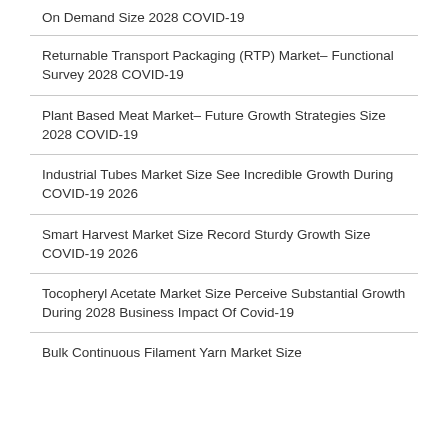On Demand Size 2028 COVID-19
Returnable Transport Packaging (RTP) Market– Functional Survey 2028 COVID-19
Plant Based Meat Market– Future Growth Strategies Size 2028 COVID-19
Industrial Tubes Market Size See Incredible Growth During COVID-19 2026
Smart Harvest Market Size Record Sturdy Growth Size COVID-19 2026
Tocopheryl Acetate Market Size Perceive Substantial Growth During 2028 Business Impact Of Covid-19
Bulk Continuous Filament Yarn Market Size